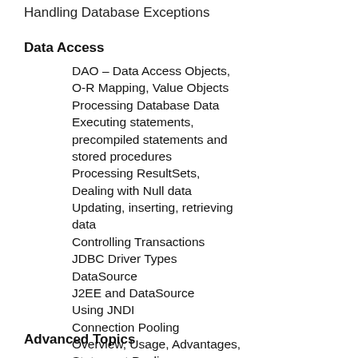Handling Database Exceptions
Data Access
DAO – Data Access Objects, O-R Mapping, Value Objects
Processing Database Data
Executing statements, precompiled statements and stored procedures
Processing ResultSets, Dealing with Null data
Updating, inserting, retrieving data
Controlling Transactions
JDBC Driver Types
DataSource
J2EE and DataSource
Using JNDI
Connection Pooling
Overview, Usage, Advantages, Statement Pooling
Advanced Topics